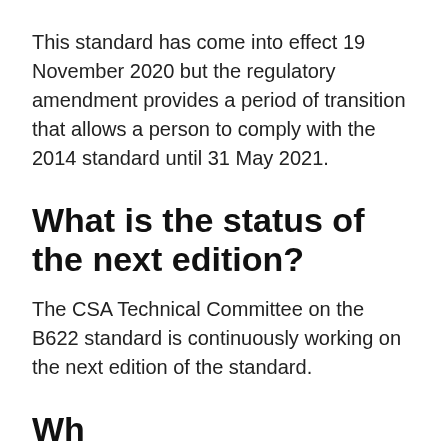This standard has come into effect 19 November 2020 but the regulatory amendment provides a period of transition that allows a person to comply with the 2014 standard until 31 May 2021.
What is the status of the next edition?
The CSA Technical Committee on the B622 standard is continuously working on the next edition of the standard.
Wh...